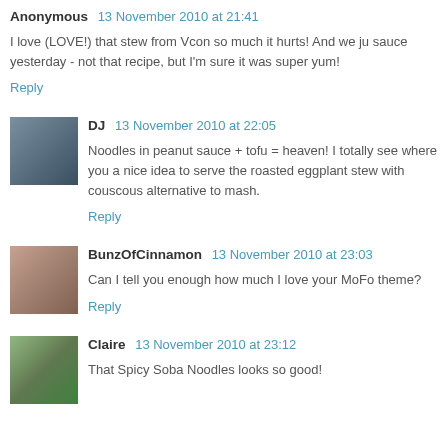Anonymous  13 November 2010 at 21:41
I love (LOVE!) that stew from Vcon so much it hurts! And we ju sauce yesterday - not that recipe, but I'm sure it was super yum!
Reply
DJ  13 November 2010 at 22:05
Noodles in peanut sauce + tofu = heaven! I totally see where you a nice idea to serve the roasted eggplant stew with couscous alternative to mash.
Reply
BunzOfCinnamon  13 November 2010 at 23:03
Can I tell you enough how much I love your MoFo theme?
Reply
Claire  13 November 2010 at 23:12
That Spicy Soba Noodles looks so good!